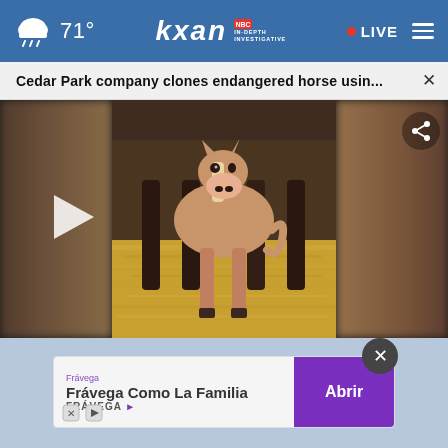71° KXAN IN-DEPTH INVESTIGATIVE • LIVE
Cedar Park company clones endangered horse usin...
[Figure (screenshot): Video player showing a foal (young horse) standing in hay inside a stable, with blurred horse sides on left and right, a play button on the left, and a share icon on the upper right]
[Figure (screenshot): Advertisement banner for Frávega reading 'Frávega Como La Familia' with an 'Abrir' (Open) button, and a close (X) button above it. Below the banner are small media player icons.]